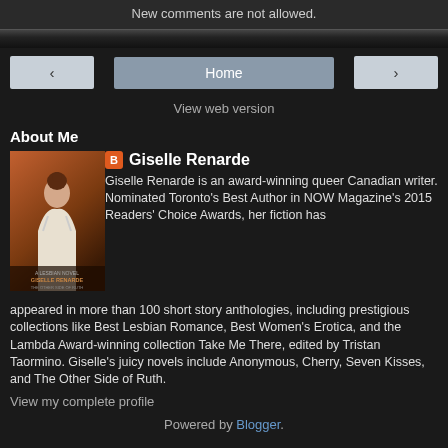New comments are not allowed.
Home
View web version
About Me
[Figure (illustration): Book cover for The Other Side of Ruth by Giselle Renarde, showing a woman's back]
Giselle Renarde
Giselle Renarde is an award-winning queer Canadian writer. Nominated Toronto's Best Author in NOW Magazine's 2015 Readers' Choice Awards, her fiction has appeared in more than 100 short story anthologies, including prestigious collections like Best Lesbian Romance, Best Women's Erotica, and the Lambda Award-winning collection Take Me There, edited by Tristan Taormino. Giselle's juicy novels include Anonymous, Cherry, Seven Kisses, and The Other Side of Ruth.
View my complete profile
Powered by Blogger.